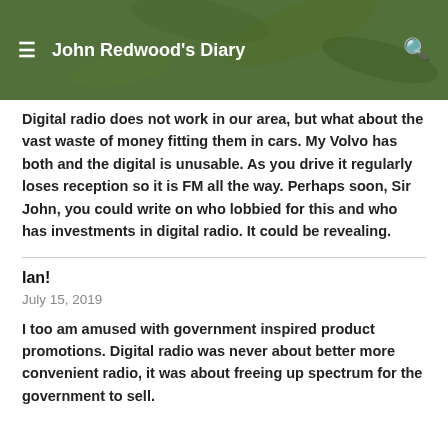John Redwood's Diary
Digital radio does not work in our area, but what about the vast waste of money fitting them in cars. My Volvo has both and the digital is unusable. As you drive it regularly loses reception so it is FM all the way. Perhaps soon, Sir John, you could write on who lobbied for this and who has investments in digital radio. It could be revealing.
Ian!
July 15, 2019
I too am amused with government inspired product promotions. Digital radio was never about better more convenient radio, it was about freeing up spectrum for the government to sell.